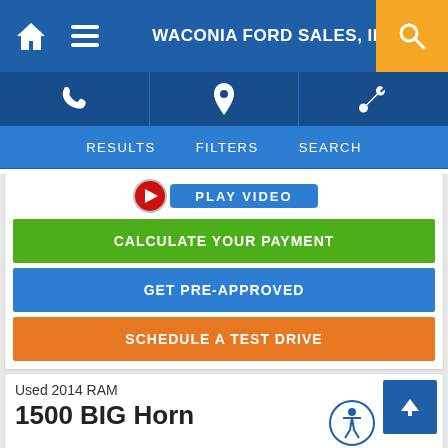WACONIA FORD SALES, INC.
[Figure (screenshot): Navigation icon bar with phone, location pin, and wrench icons on dark blue background]
[Figure (screenshot): Tab bar with RESULTS, FILTERS, SEARCH tabs]
[Figure (screenshot): Play video button thumbnail (red button partially visible)]
CALCULATE YOUR PAYMENT
GET PRE-APPROVED
SCHEDULE A TEST DRIVE
Used 2014 RAM
1500 BIG Horn
[Figure (screenshot): Bottom banner with FINANCING AVAILABLE, CALL TODAY 612-474-1010, SAME DAY APPROVALS; chat/text button; accessibility icon; scroll-to-top button]